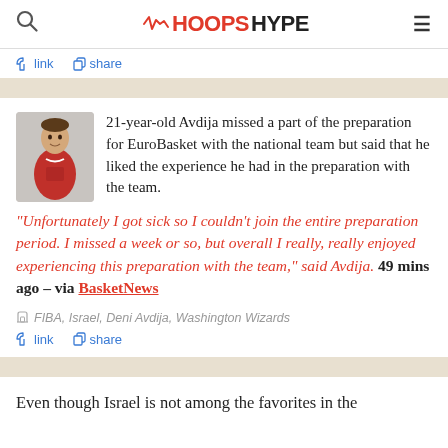HoopsHype
link  share
21-year-old Avdija missed a part of the preparation for EuroBasket with the national team but said that he liked the experience he had in the preparation with the team.
“Unfortunately I got sick so I couldn’t join the entire preparation period. I missed a week or so, but overall I really, really enjoyed experiencing this preparation with the team,” said Avdija. 49 mins ago – via BasketNews
FIBA, Israel, Deni Avdija, Washington Wizards
link  share
Even though Israel is not among the favorites in the